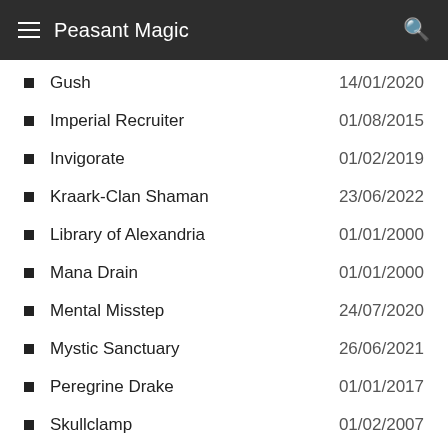Peasant Magic
Gush   14/01/2020
Imperial Recruiter   01/08/2015
Invigorate   01/02/2019
Kraark-Clan Shaman   23/06/2022
Library of Alexandria   01/01/2000
Mana Drain   01/01/2000
Mental Misstep   24/07/2020
Mystic Sanctuary   26/06/2021
Peregrine Drake   01/01/2017
Skullclamp   01/02/2007
Sojourner's Companion   31/01/2022
Sol Ring   01/02/2007
Strip Mine   01/02/2007